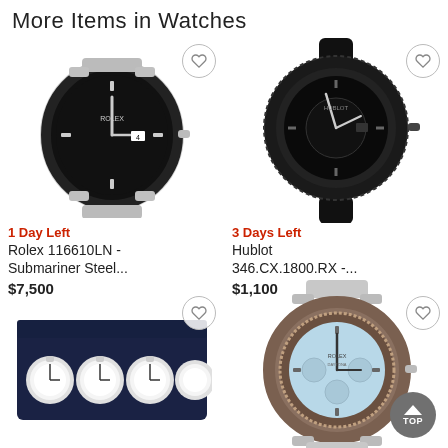More Items in Watches
[Figure (photo): Rolex 116610LN Submariner steel watch with black bezel and bracelet, with heart/wishlist circle button]
1 Day Left
Rolex 116610LN - Submariner Steel...
$7,500
[Figure (photo): Hublot 346.CX.1800.RX all-black watch with carbon fiber bezel on rubber strap, with heart/wishlist circle button]
3 Days Left
Hublot 346.CX.1800.RX -...
$1,100
[Figure (photo): A set of six vintage pocket watches in a dark blue display box, with heart/wishlist circle button]
[Figure (photo): Rolex Daytona watch with ice blue dial and stainless bracelet, with heart/wishlist circle button]